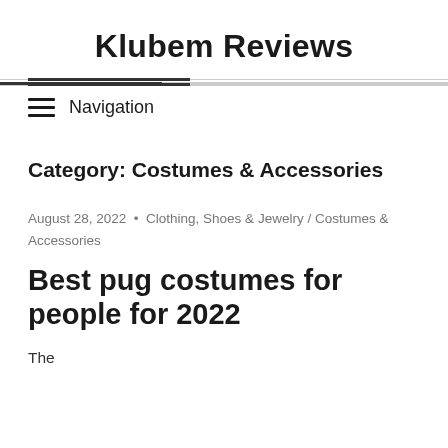Klubem Reviews
Navigation
Category: Costumes & Accessories
August 28, 2022  •  Clothing, Shoes & Jewelry / Costumes & Accessories
Best pug costumes for people for 2022
The...